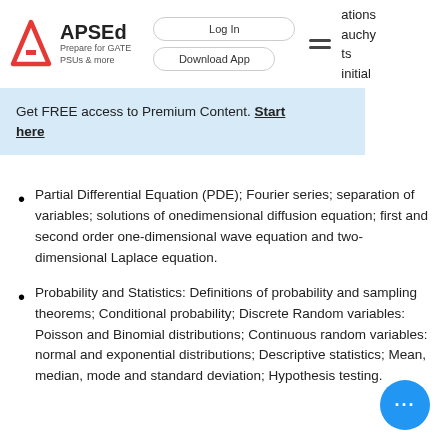APSEd — Prepare for GATE PSUs & more | Log In | Download App | ations auchy ts initial
Get FREE access to Premium Content. Start here
Partial Differential Equation (PDE); Fourier series; separation of variables; solutions of onedimensional diffusion equation; first and second order one-dimensional wave equation and two-dimensional Laplace equation.
Probability and Statistics: Definitions of probability and sampling theorems; Conditional probability; Discrete Random variables: Poisson and Binomial distributions; Continuous random variables: normal and exponential distributions; Descriptive statistics; Mean, median, mode and standard deviation; Hypothesis testing.